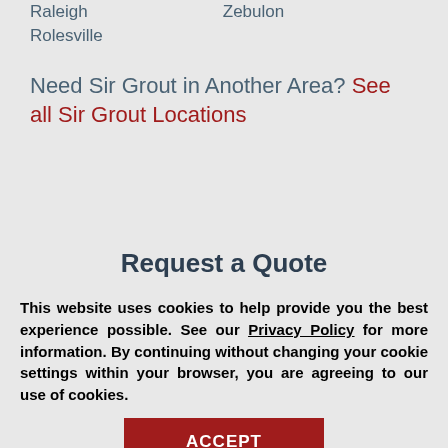Raleigh
Zebulon
Rolesville
Need Sir Grout in Another Area? See all Sir Grout Locations
Request a Quote
Name
This website uses cookies to help provide you the best experience possible. See our Privacy Policy for more information. By continuing without changing your cookie settings within your browser, you are agreeing to our use of cookies.
ACCEPT